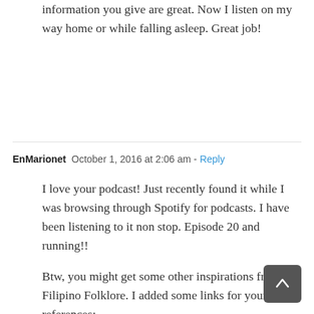information you give are great. Now I listen on my way home or while falling asleep. Great job!
EnMarionet  October 1, 2016 at 2:06 am - Reply
I love your podcast! Just recently found it while I was browsing through Spotify for podcasts. I have been listening to it non stop. Episode 20 and running!!
Btw, you might get some other inspirations from Filipino Folklore. I added some links for your references:
http://www.smartparenting.com.ph/life/family-fun/5-well-loved-philippine-folk-tales-young-